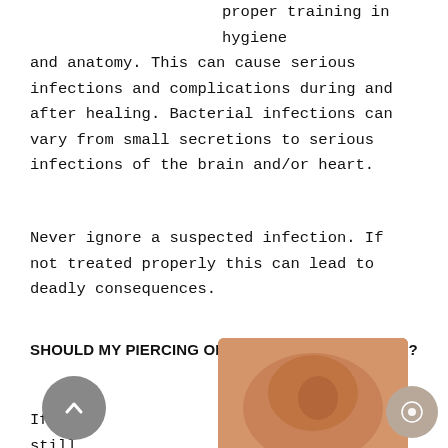proper training in hygiene and anatomy. This can cause serious infections and complications during and after healing. Bacterial infections can vary from small secretions to serious infections of the brain and/or heart.
Never ignore a suspected infection. If not treated properly this can lead to deadly consequences.
SHOULD MY PIERCING OR EARRING GET CUT OUT?
If you still
[Figure (photo): Photo of an ear with a piercing or earring, showing skin/ear in warm orange-brown tones]